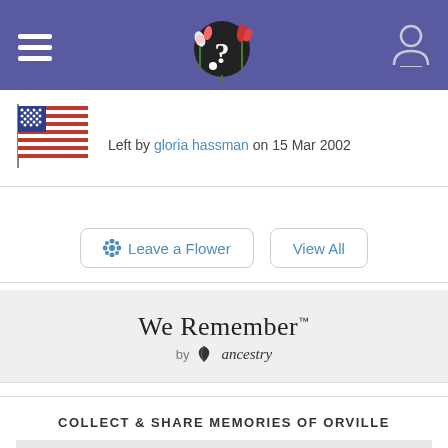Navigation header with hamburger menu, question mark logo with flowers, and user account icon
[Figure (illustration): American flag waving, pixel/icon style]
Left by gloria hassman on 15 Mar 2002
Leave a Flower
View All
[Figure (logo): We Remember™ by ancestry logo]
COLLECT & SHARE MEMORIES OF ORVILLE
What's one thing you'll always remember when you think of